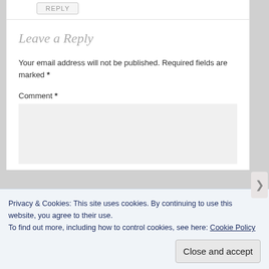REPLY
Leave a Reply
Your email address will not be published. Required fields are marked *
Comment *
Privacy & Cookies: This site uses cookies. By continuing to use this website, you agree to their use.
To find out more, including how to control cookies, see here: Cookie Policy
Close and accept